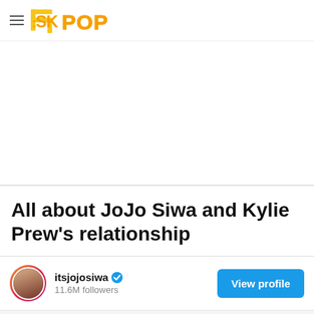SK POP
[Figure (other): Advertisement / blank white space area]
All about JoJo Siwa and Kylie Prew's relationship
itsjojosiwa  11.6M followers  View profile